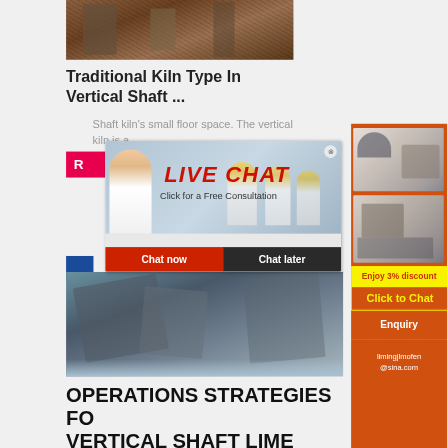[Figure (photo): Industrial kiln/shaft equipment photo at top]
Traditional Kiln Type In Vertical Shaft ...
Shaft kiln's small floor space. The vertical kiln is a...
[Figure (photo): Live chat popup overlay with workers in hard hats]
[Figure (photo): Right sidebar orange panel with machinery images]
[Figure (photo): Bottom photo of vertical shaft lime machinery]
OPERATIONS STRATEGIES FOR VERTICAL SHAFT LIME